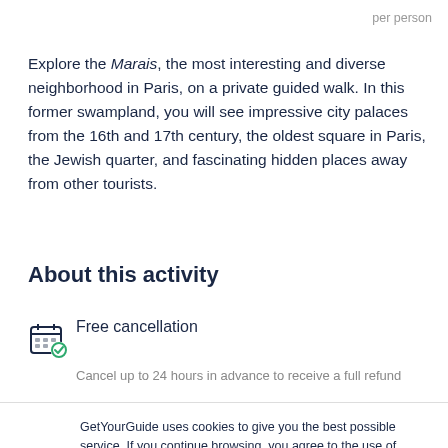per person
Explore the Marais, the most interesting and diverse neighborhood in Paris, on a private guided walk. In this former swampland, you will see impressive city palaces from the 16th and 17th century, the oldest square in Paris, the Jewish quarter, and fascinating hidden places away from other tourists.
About this activity
Free cancellation
Cancel up to 24 hours in advance to receive a full refund
GetYourGuide uses cookies to give you the best possible service. If you continue browsing, you agree to the use of cookies. More details can be found in our privacy policy.